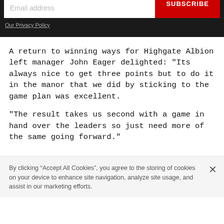[Figure (screenshot): Dark email subscription form with text input labeled 'Email address' and a red 'SUBSCRIBE' button]
Our Privacy Policy
A return to winning ways for Highgate Albion left manager John Eager delighted: "Its always nice to get three points but to do it in the manor that we did by sticking to the game plan was excellent.
"The result takes us second with a game in hand over the leaders so just need more of the same going forward."
By clicking “Accept All Cookies”, you agree to the storing of cookies on your device to enhance site navigation, analyze site usage, and assist in our marketing efforts.